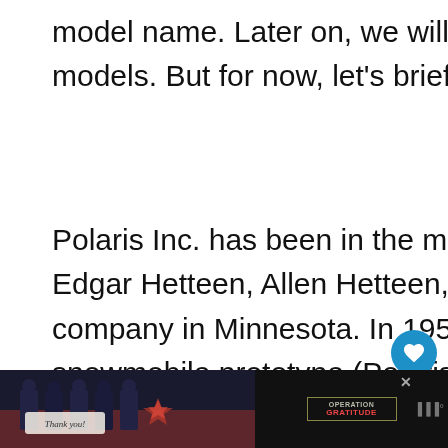model name. Later on, we will discuss the different Polaris models. But for now, let's briefly talk about its history.
Polaris Inc. has been in the motorsport industry for decades. Edgar Hetteen, Allen Hetteen, and David Johnson founded this company in Minnesota. In 1954, they introduced their first snowmobile prototype (Polaris Snow Traveler) to make hunting terrains more accessible.
[Figure (other): Website UI overlay: heart/like button (blue circle with heart icon), like count '4', share button (circle with share icon), and a 'What's Next' card showing a Kawasaki STX-15F Jet... article with thumbnail image]
[Figure (other): Advertisement banner at bottom of page: dark background with photo of firefighters/military personnel holding a 'Thank you!' sign, and Operation Gratitude logo on the right side, with a close/mute button]